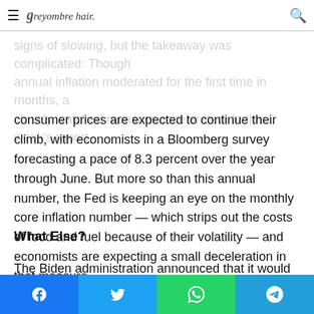greyombre hair. [hamburger menu] [search icon]
where the economy is headed. In April, inflation showed some signs of slowing, but the takeaway was complicated: Though annual inflation moderated for the first time in months, a closely watched measure accelerated. In this week's report consumer prices are expected to continue their climb, with economists in a Bloomberg survey forecasting a pace of 8.3 percent over the year through June. But more so than this annual number, the Fed is keeping an eye on the monthly core inflation number — which strips out the costs of food and fuel because of their volatility — and economists are expecting a small deceleration in that measure.
What Else?
The Biden administration announced that it would forgive $5.8 billion in student loans for borrowers who attended Corinthian
Facebook | Twitter | WhatsApp | Telegram share buttons